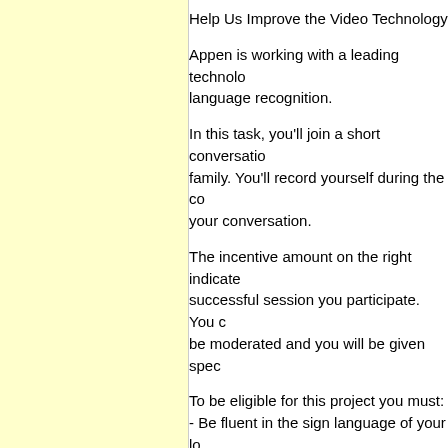Help Us Improve the Video Technology fo...
Appen is working with a leading technolo... language recognition.
In this task, you'll join a short conversatio... family. You'll record yourself during the co... your conversation.
The incentive amount on the right indicate... successful session you participate. You c... be moderated and you will be given spec...
To be eligible for this project you must:
- Be fluent in the sign language of your lo...
- Access to desktop/laptop
- Have a smartphone
To participate, please click on the link to a...
https://bit.ly/3bGmcYQ
We are an equal opportunity employer a... discriminate on the basis of race, religion... orientation, age, marital status, veteran s...
This job is already available.
Special requirements to the applicants: C...